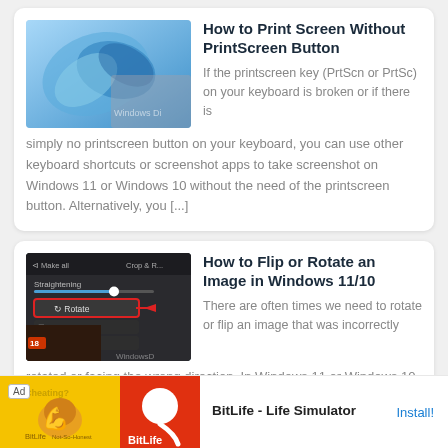[Figure (screenshot): Windows 11 wallpaper screenshot with blue abstract swirl, watermark 'WindowsDi']
How to Print Screen Without PrintScreen Button
If the printscreen key (PrtScn or PrtSc) on your keyboard is broken or if there is simply no printscreen button on your keyboard, you can use other keyboard shortcuts or screenshot apps to take screenshot on Windows 11 or Windows 10 without the need of the printscreen button. Alternatively, you [...]
[Figure (screenshot): Screenshot of Windows photo editing app showing Rotate option with red highlight, game image in background, watermark 'WindowsD']
How to Flip or Rotate an Image in Windows 11/10
There are often times we need to rotate or flip an image that was incorrectly rotated or facing the wrong direction. In Windows 11 or Windows 10, there are several ways to quickly flip or rotate an image without using external apps, while preserving the quality of the original image. [...]
Ad  BitLife - Life Simulator  Install!